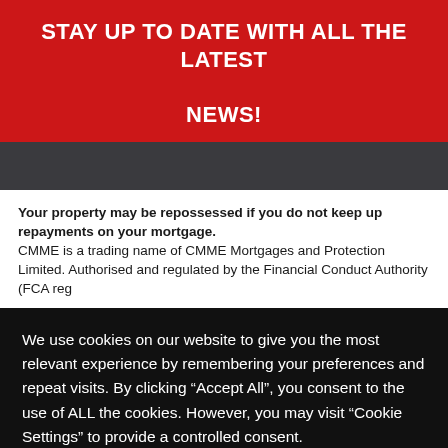STAY UP TO DATE WITH ALL THE LATEST NEWS!
Your property may be repossessed if you do not keep up repayments on your mortgage. CMME is a trading name of CMME Mortgages and Protection Limited. Authorised and regulated by the Financial Conduct Authority (FCA reg
We use cookies on our website to give you the most relevant experience by remembering your preferences and repeat visits. By clicking “Accept All”, you consent to the use of ALL the cookies. However, you may visit “Cookie Settings” to provide a controlled consent.
COOKIE SETTINGS
ACCEPT ALL